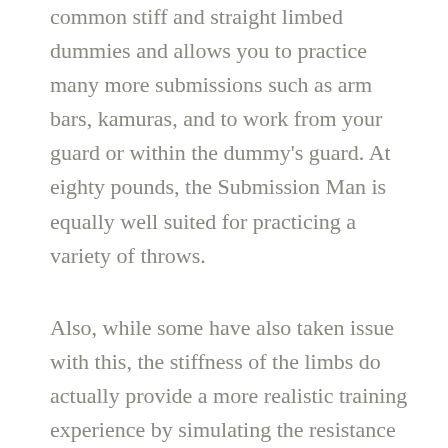common stiff and straight limbed dummies and allows you to practice many more submissions such as arm bars, kamuras, and to work from your guard or within the dummy's guard. At eighty pounds, the Submission Man is equally well suited for practicing a variety of throws.
Also, while some have also taken issue with this, the stiffness of the limbs do actually provide a more realistic training experience by simulating the resistance a real opponent would have.